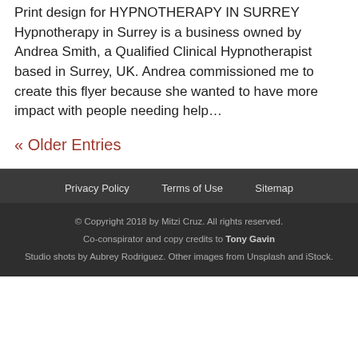Print design for HYPNOTHERAPY IN SURREY Hypnotherapy in Surrey is a business owned by Andrea Smith, a Qualified Clinical Hypnotherapist based in Surrey, UK. Andrea commissioned me to create this flyer because she wanted to have more impact with people needing help…
« Older Entries
Privacy Policy   Terms of Use   Sitemap
© Copyright 2018 by Mitzi Cruz. All rights reserved. Co-conspirator and copy credits to Tony Gavin Studio shots by Aubrey Rodriguez. Other images from Unsplash and iStock.